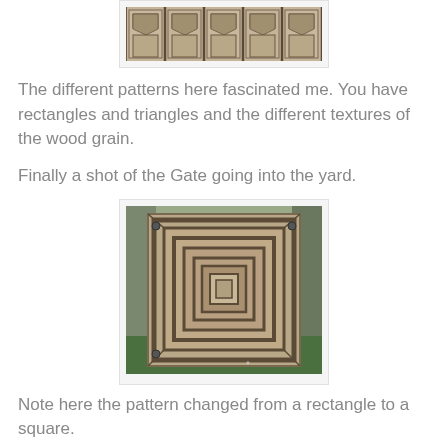[Figure (photo): Close-up photo of weathered wooden gate panels with rectangle and triangle patterns and visible wood grain texture]
The different patterns here fascinated me.  You have rectangles and triangles and the different textures of the wood grain.
Finally a shot of the Gate going into the yard.
[Figure (photo): Photo of a wooden gate with concentric square/rectangle frame pattern, viewed straight on, with green grass and foliage visible around it]
Note here the pattern changed from a rectangle to a square.